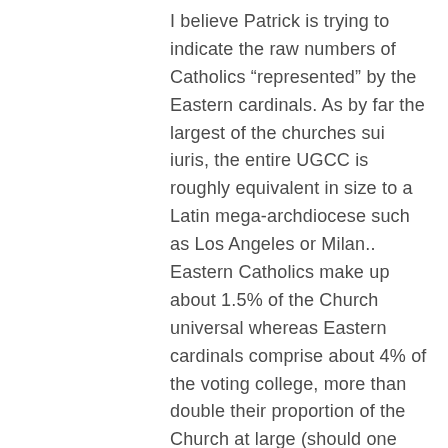I believe Patrick is trying to indicate the raw numbers of Catholics “represented” by the Eastern cardinals. As by far the largest of the churches sui iuris, the entire UGCC is roughly equivalent in size to a Latin mega-archdiocese such as Los Angeles or Milan.. Eastern Catholics make up about 1.5% of the Church universal whereas Eastern cardinals comprise about 4% of the voting college, more than double their proportion of the Church at large (should one consider the lack of a Ukrainian egregious enough to skew those